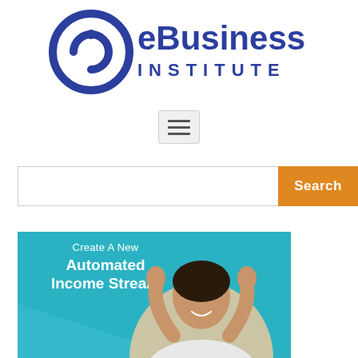[Figure (logo): eBusiness Institute logo with circular 'e' icon and text 'eBusiness INSTITUTE' in dark blue]
[Figure (other): Hamburger menu icon (three horizontal lines) in a light gray rounded rectangle]
[Figure (other): Search bar with white input field and orange Search button]
[Figure (infographic): Teal banner image reading 'Create A New Automated Income Stream' with a photo of a smiling woman raising her fists in celebration]